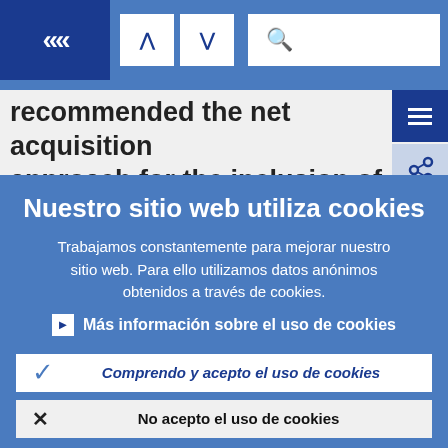[Figure (screenshot): Navigation bar with back button (double left chevron), up and down arrow buttons, and a search box with magnifying glass icon, on a blue background.]
recommended the net acquisition approach for the inclusion of OOH-
Nuestro sitio web utiliza cookies
Trabajamos constantemente para mejorar nuestro sitio web. Para ello utilizamos datos anónimos obtenidos a través de cookies.
Más información sobre el uso de cookies
Comprendo y acepto el uso de cookies
No acepto el uso de cookies